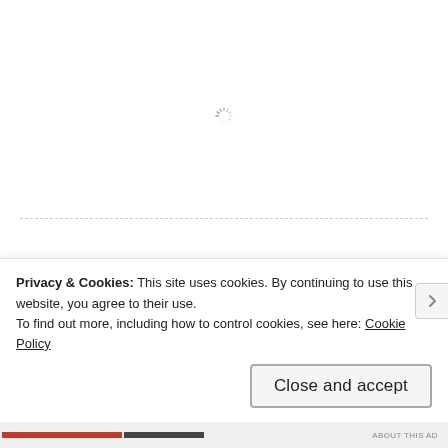[Figure (other): Loading spinner icon centered near top of page]
Follow Blog via Email
Enter your email address to follow this blog and receive notifications of new posts by email.
Enter your email address
Privacy & Cookies: This site uses cookies. By continuing to use this website, you agree to their use.
To find out more, including how to control cookies, see here: Cookie Policy
Close and accept